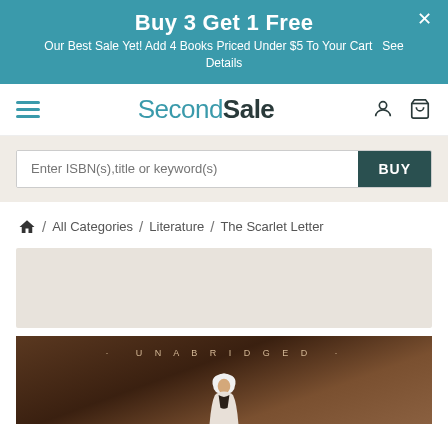Buy 3 Get 1 Free — Our Best Sale Yet! Add 4 Books Priced Under $5 To Your Cart  See Details
SecondSale
Enter ISBN(s),title or keyword(s)  BUY
Home / All Categories / Literature / The Scarlet Letter
[Figure (photo): Book cover image for The Scarlet Letter Unabridged edition, showing a figure in a white hood/bonnet against a dark forest background with 'UNABRIDGED' text at top]